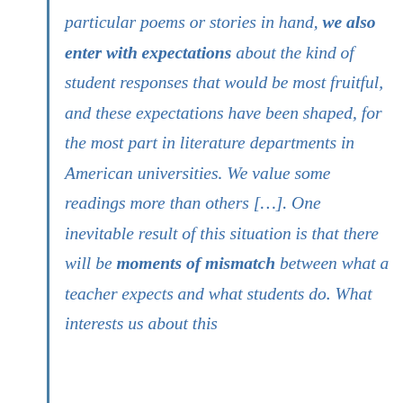particular poems or stories in hand, we also enter with expectations about the kind of student responses that would be most fruitful, and these expectations have been shaped, for the most part in literature departments in American universities. We value some readings more than others […]. One inevitable result of this situation is that there will be moments of mismatch between what a teacher expects and what students do. What interests us about this